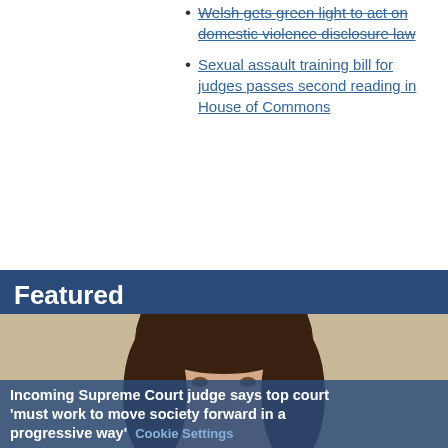Welsh gets green light to act on domestic violence disclosure law
Sexual assault training bill for judges passes second reading in House of Commons
Featured
[Figure (photo): Headshot of a woman with dark brown hair smiling, wearing professional attire, photographed against a light beige background.]
We use cookies to analyse and improve our service, to improve and personalise content and your digital experience. However, you can change your preferences using the "Cookie Settings" link.  Cookie Policy
Incoming Supreme Court judge says top court 'must work to move society forward in a progressive way'
Cookie Settings